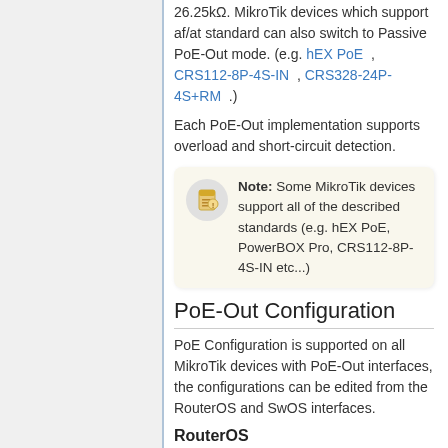26.25kΩ. MikroTik devices which support af/at standard can also switch to Passive PoE-Out mode. (e.g. hEX PoE, CRS112-8P-4S-IN, CRS328-24P-4S+RM .)
Each PoE-Out implementation supports overload and short-circuit detection.
Note: Some MikroTik devices support all of the described standards (e.g. hEX PoE, PowerBOX Pro, CRS112-8P-4S-IN etc...)
PoE-Out Configuration
PoE Configuration is supported on all MikroTik devices with PoE-Out interfaces, the configurations can be edited from the RouterOS and SwOS interfaces.
RouterOS